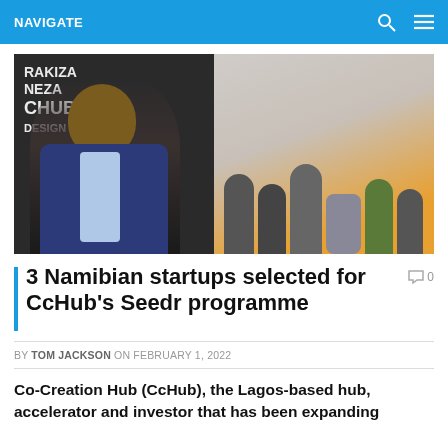NAVIGATE
[Figure (photo): Left side: a man in a blue suit holding a microphone in front of a chalkboard with 'RAKIZA NEZA CHUB DESIGN' written on it. Right side: a group of people sitting in an orange-accented room.]
3 Namibian startups selected for CcHub's Seedr programme
BY TOM JACKSON ON FEBRUARY 1, 2022
Co-Creation Hub (CcHub), the Lagos-based hub, accelerator and investor that has been expanding